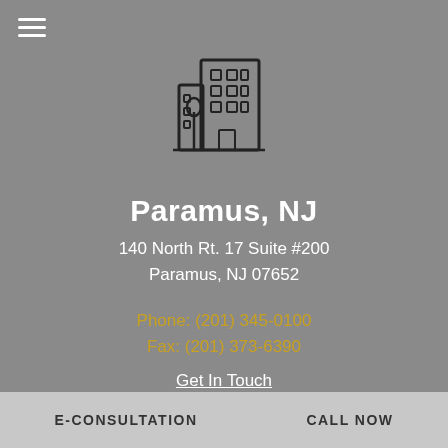[Figure (illustration): Line-art icon of a city office building with windows and a small tree]
Paramus, NJ
140 North Rt. 17 Suite #200
Paramus, NJ 07652
Phone: (201) 345-0100
Fax: (201) 373-6390
Get In Touch
E-CONSULTATION    CALL NOW